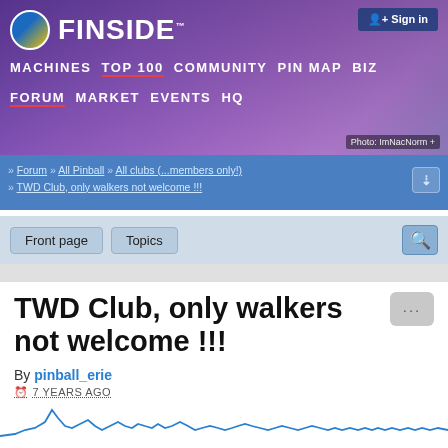[Figure (screenshot): Finside website banner with logo, navigation menu items: MACHINES TOP 100 COMMUNITY PIN MAP BIZ, FORUM MARKET EVENTS HQ, photo credit ImNacNorm]
Sign in
» Forum » All Pinball » All clubs (...members only!) » TWD Club, only walkers not welcome !!!
Front page   Topics
TWD Club, only walkers not welcome !!!
By pinball_erie
7 YEARS AGO
[Figure (continuous-plot): Line chart showing activity over time, blue jagged line with peaks, plotted on white background]